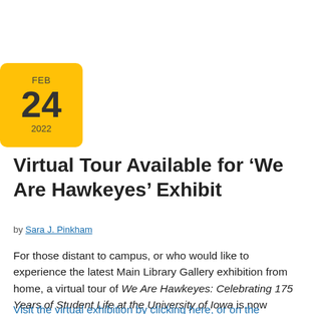[Figure (other): Yellow calendar badge showing FEB 24 2022]
Virtual Tour Available for ‘We Are Hawkeyes’ Exhibit
by Sara J. Pinkham
For those distant to campus, or who would like to experience the latest Main Library Gallery exhibition from home, a virtual tour of We Are Hawkeyes: Celebrating 175 Years of Student Life at the University of Iowa is now available online.
Visit the virtual exhibition by clicking here, or on the